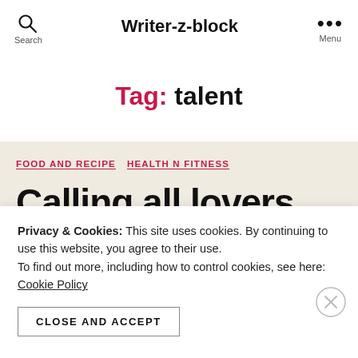Writer-z-block
Tag: talent
FOOD AND RECIPE  HEALTH N FITNESS
Calling all lovers… or
Privacy & Cookies: This site uses cookies. By continuing to use this website, you agree to their use. To find out more, including how to control cookies, see here: Cookie Policy
CLOSE AND ACCEPT